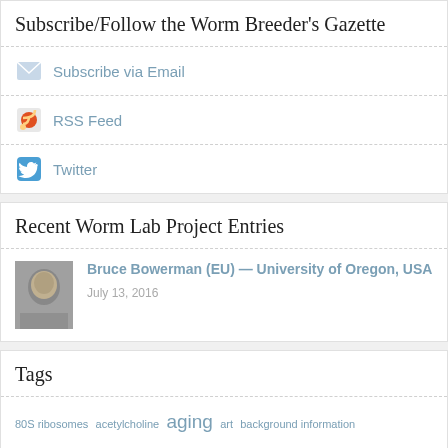Subscribe/Follow the Worm Breeder's Gazette
Subscribe via Email
RSS Feed
Twitter
Recent Worm Lab Project Entries
Bruce Bowerman (EU) — University of Oregon, USA — July 13, 2016
Tags
80S ribosomes  acetylcholine  aging  art  background information  behavior  C.